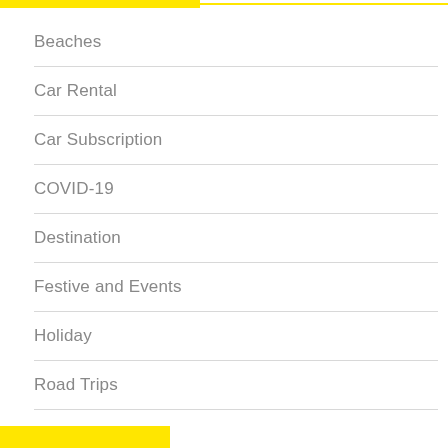Beaches
Car Rental
Car Subscription
COVID-19
Destination
Festive and Events
Holiday
Road Trips
Travel
Uncategorized